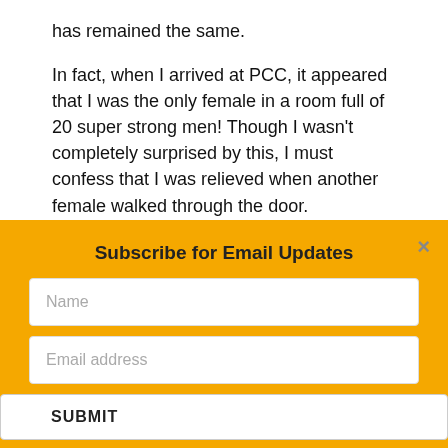has remained the same.
In fact, when I arrived at PCC, it appeared that I was the only female in a room full of 20 super strong men! Though I wasn't completely surprised by this, I must confess that I was relieved when another female walked through the door.
Subscribe for Email Updates
Name
Email address
SUBMIT